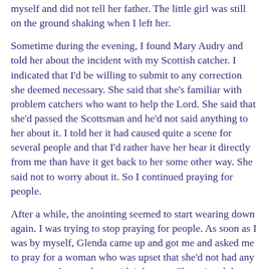myself and did not tell her father. The little girl was still on the ground shaking when I left her.
Sometime during the evening, I found Mary Audry and told her about the incident with my Scottish catcher. I indicated that I'd be willing to submit to any correction she deemed necessary. She said that she's familiar with problem catchers who want to help the Lord. She said that she'd passed the Scottsman and he'd not said anything to her about it. I told her it had caused quite a scene for several people and that I'd rather have her hear it directly from me than have it get back to her some other way. She said not to worry about it. So I continued praying for people.
After a while, the anointing seemed to start wearing down again. I was trying to stop praying for people. As soon as I was by myself, Glenda came up and got me and asked me to pray for a woman who was upset that she'd not had any prayer yet. It was about midnight now. She pointed the woman out to me and it turned out to be a Brittish lady that I had sort of made friends with at the hotel. She was sitting on the stem of the altar bench by herself and I called out to her.